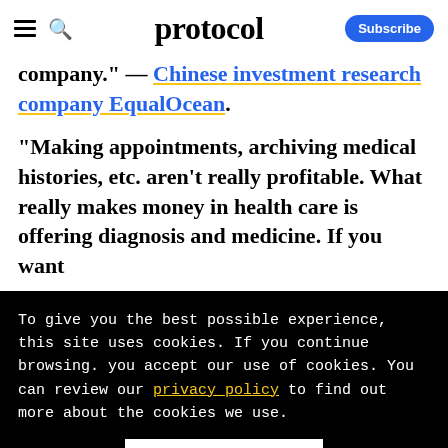protocol — Subscribe
company." — Chinese investment research company EqualOcean.
"Making appointments, archiving medical histories, etc. aren't really profitable. What really makes money in health care is offering diagnosis and medicine. If you want
To give you the best possible experience, this site uses cookies. If you continue browsing. you accept our use of cookies. You can review our privacy policy to find out more about the cookies we use.
Accept